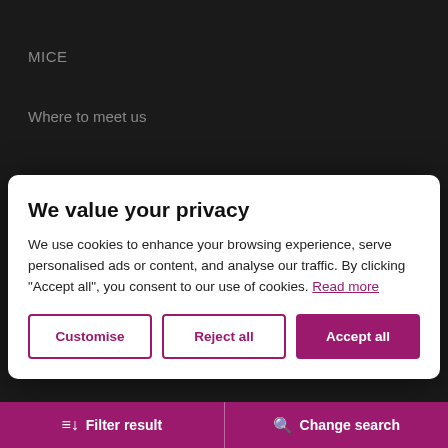MICE
Where to meet us
We value your privacy
We use cookies to enhance your browsing experience, serve personalised ads or content, and analyse our traffic. By clicking "Accept all", you consent to our use of cookies. Read more
Customise
Reject all
Accept all
Eco-lighthouse
[Figure (logo): Visit Tromsø! logo in grey italic text]
Filter result
Change search